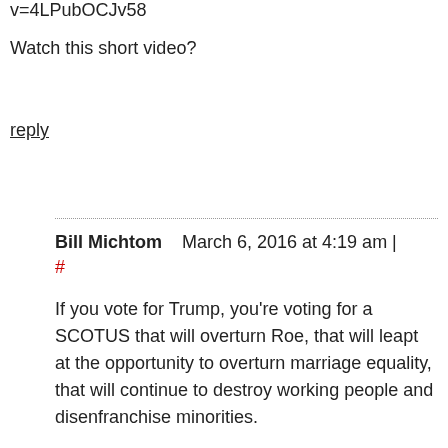v=4LPubOCJv58
Watch this short video?
reply
Bill Michtom   March 6, 2016 at 4:19 am | #
If you vote for Trump, you're voting for a SCOTUS that will overturn Roe, that will leapt at the opportunity to overturn marriage equality, that will continue to destroy working people and disenfranchise minorities.
While Clinton is vile in so many ways, her choice for SCOTUS will be less vile than